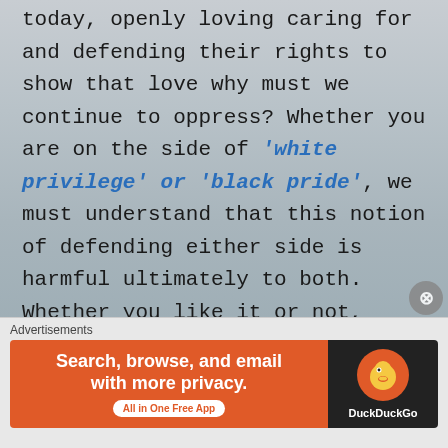today, openly loving caring for and defending their rights to show that love why must we continue to oppress? Whether you are on the side of 'white privilege' or 'black pride', we must understand that this notion of defending either side is harmful ultimately to both. Whether you like it or not, approve or otherwise disapprove, it is unfair as parents, people, humans, for us to continue to adhere to beliefs that neither you nor I know from whence they originated.  Let us begin to cure this amnesia, and gather in
[Figure (screenshot): DuckDuckGo advertisement banner: orange background with text 'Search, browse, and email with more privacy. All in One Free App' and DuckDuckGo logo on black background]